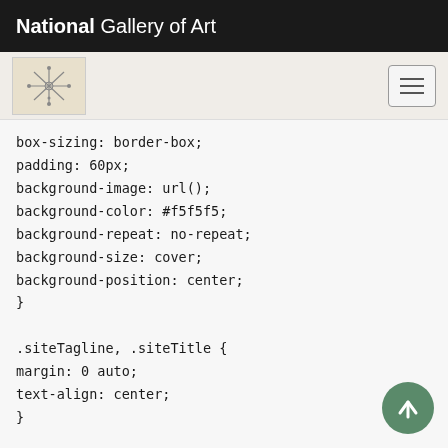National Gallery of Art
[Figure (screenshot): Navigation bar with decorative snowflake/botanical logo icon on the left and a hamburger menu button on the right, on a light beige background]
box-sizing: border-box;
padding: 60px;
background-image: url();
background-color: #f5f5f5;
background-repeat: no-repeat;
background-size: cover;
background-position: center;
}

.siteTagline, .siteTitle {
margin: 0 auto;
text-align: center;
}

.siteTagline a,  .siteTagline a: visited
color: #37474f;
text-decoration: none;